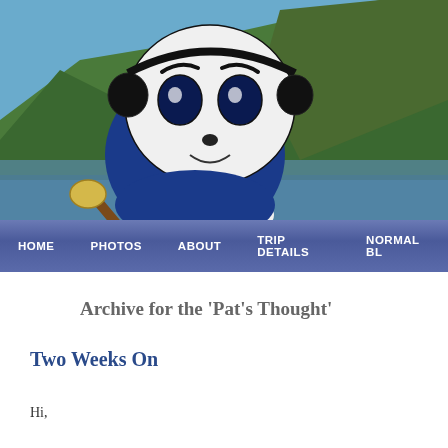[Figure (photo): Website header banner showing a cartoon character (round blue body with big eyes and headphones, holding drumstick) against a scenic New Zealand mountain and fjord landscape with blue sky]
[Figure (screenshot): Navigation bar with dark blue/purple background showing menu items: HOME, PHOTOS, ABOUT, TRIP DETAILS, NORMAL BL...]
Archive for the 'Pat's Thought'
Two Weeks On
Hi,